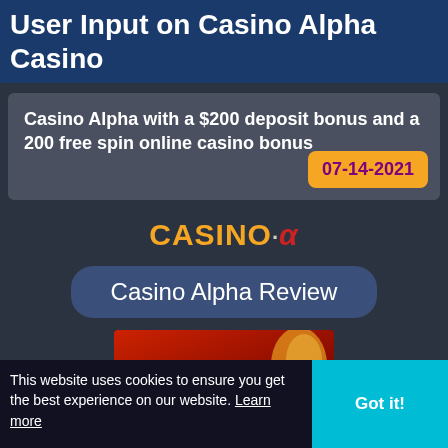User Input on Casino Alpha Casino
Casino Alpha with a $200 deposit bonus and a 200 free spin online casino bonus
07-14-2021
[Figure (logo): Casino Alpha logo with orange CASINO text, dot, and red italic alpha symbol]
Casino Alpha Review
[Figure (screenshot): Plentiful Treasure casino game banner with colorful text on red background]
This website uses cookies to ensure you get the best experience on our website. Learn more
Got it!